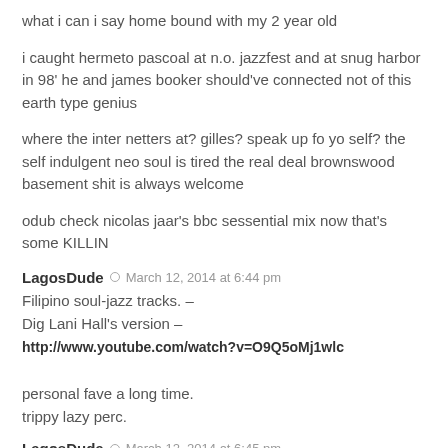what i can i say home bound with my 2 year old
i caught hermeto pascoal at n.o. jazzfest and at snug harbor in 98' he and james booker should've connected not of this earth type genius
where the inter netters at? gilles? speak up fo yo self? the self indulgent neo soul is tired the real deal brownswood basement shit is always welcome
odub check nicolas jaar's bbc sessential mix now that's some KILLIN
LagosDude  March 12, 2014 at 6:44 pm
Filipino soul-jazz tracks. –
Dig Lani Hall's version –
http://www.youtube.com/watch?v=O9Q5oMj1wlc

personal fave a long time.
trippy lazy perc.
LagosDude  March 12, 2014 at 6:45 pm
And great job dude,